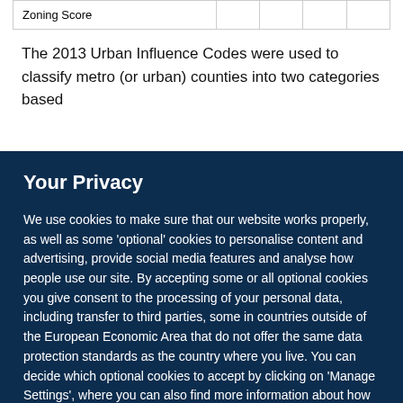| Zoning Score |  |  |  |  |
| --- | --- | --- | --- | --- |
The 2013 Urban Influence Codes were used to classify metro (or urban) counties into two categories based
Your Privacy
We use cookies to make sure that our website works properly, as well as some ‘optional’ cookies to personalise content and advertising, provide social media features and analyse how people use our site. By accepting some or all optional cookies you give consent to the processing of your personal data, including transfer to third parties, some in countries outside of the European Economic Area that do not offer the same data protection standards as the country where you live. You can decide which optional cookies to accept by clicking on ‘Manage Settings’, where you can also find more information about how your personal data is processed. Further information can be found in our privacy policy.
Accept all cookies
Manage preferences